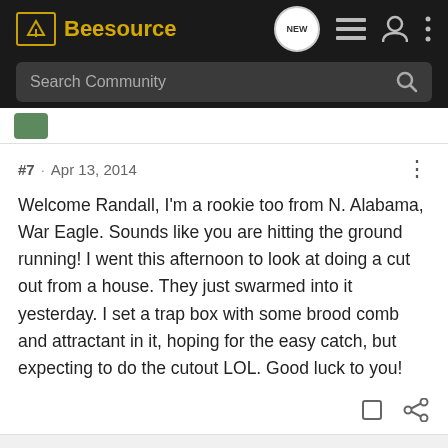[Figure (screenshot): Beesource community forum logo and navigation bar with search field]
#7 · Apr 13, 2014
Welcome Randall, I'm a rookie too from N. Alabama, War Eagle. Sounds like you are hitting the ground running! I went this afternoon to look at doing a cut out from a house. They just swarmed into it yesterday. I set a trap box with some brood comb and attractant in it, hoping for the easy catch, but expecting to do the cutout LOL. Good luck to you!
rsharpe03 · Registered
Joined Feb 28, 2014 · 4 Posts